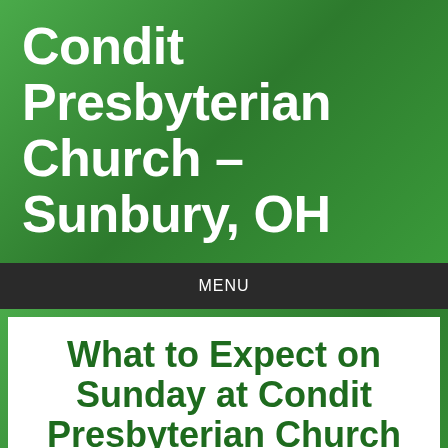Condit Presbyterian Church – Sunbury, OH
MENU
What to Expect on Sunday at Condit Presbyterian Church
Where do I park and where do I go?   There is plenty of parking on both sides of the building, and both main entrances are open. The worship gathering is in our sanctuary, just inside each entrance. At the back door to the sanctuary, there will be greeters to hand you a program and